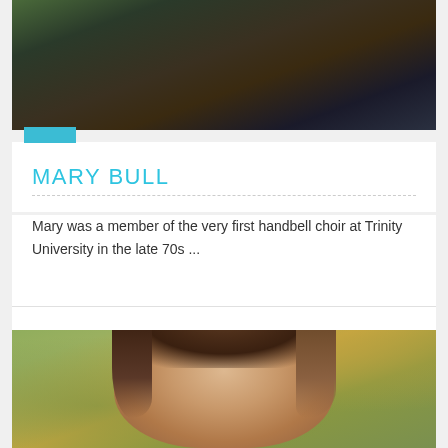[Figure (photo): Partial photo of a person, cropped at top of page, showing head/shoulders with warm tones]
MARY BULL
Mary was a member of the very first handbell choir at Trinity University in the late 70s ...
[Figure (photo): Portrait photo of a young woman with long brown hair, smiling, with a blurred autumn outdoor background]